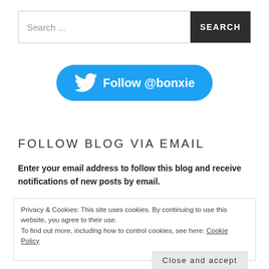Search ...
[Figure (other): Twitter Follow button with bird logo and text 'Follow @bonxie' on blue pill-shaped button]
FOLLOW BLOG VIA EMAIL
Enter your email address to follow this blog and receive notifications of new posts by email.
Privacy & Cookies: This site uses cookies. By continuing to use this website, you agree to their use.
To find out more, including how to control cookies, see here: Cookie Policy
[Close and accept]